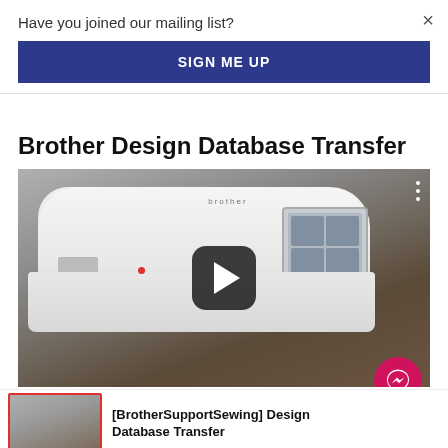Have you joined our mailing list?
×
SIGN ME UP
Brother Design Database Transfer
[Figure (screenshot): A Brother embroidery/sewing machine shown on a wood table against a gray background, with a YouTube-style play button overlay (dark rounded rectangle with white triangle). Three vertical dots are visible in the top-right corner of the video thumbnail. A pink/red Messenger chat bubble icon is in the bottom-right corner of the video area.]
[BrotherSupportSewing] Design Database Transfer